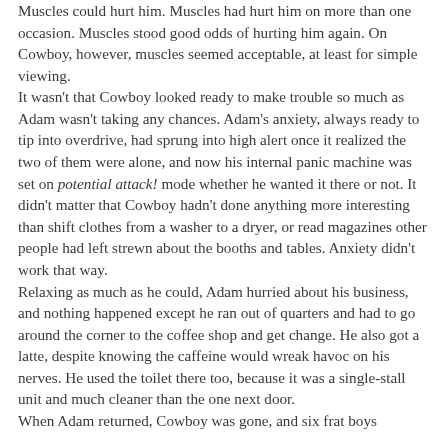Muscles could hurt him. Muscles had hurt him on more than one occasion. Muscles stood good odds of hurting him again. On Cowboy, however, muscles seemed acceptable, at least for simple viewing. It wasn't that Cowboy looked ready to make trouble so much as Adam wasn't taking any chances. Adam's anxiety, always ready to tip into overdrive, had sprung into high alert once it realized the two of them were alone, and now his internal panic machine was set on potential attack! mode whether he wanted it there or not. It didn't matter that Cowboy hadn't done anything more interesting than shift clothes from a washer to a dryer, or read magazines other people had left strewn about the booths and tables. Anxiety didn't work that way. Relaxing as much as he could, Adam hurried about his business, and nothing happened except he ran out of quarters and had to go around the corner to the coffee shop and get change. He also got a latte, despite knowing the caffeine would wreak havoc on his nerves. He used the toilet there too, because it was a single-stall unit and much cleaner than the one next door. When Adam returned, Cowboy was gone, and six frat boys